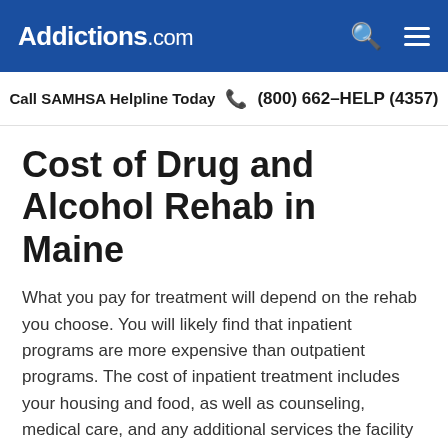Addictions.com
Call SAMHSA Helpline Today  (800) 662-HELP (4357)
Cost of Drug and Alcohol Rehab in Maine
What you pay for treatment will depend on the rehab you choose. You will likely find that inpatient programs are more expensive than outpatient programs. The cost of inpatient treatment includes your housing and food, as well as counseling, medical care, and any additional services the facility offers during treatment. Outpatient programs only include the treatment costs without the additional expenses related to living at a facility. Therefore, the price